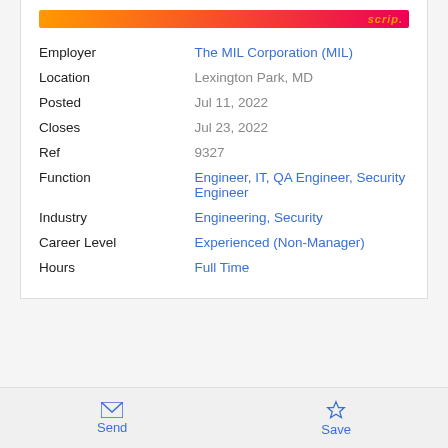| Field | Value |
| --- | --- |
| Employer | The MIL Corporation (MIL) |
| Location | Lexington Park, MD |
| Posted | Jul 11, 2022 |
| Closes | Jul 23, 2022 |
| Ref | 9327 |
| Function | Engineer, IT, QA Engineer, Security Engineer |
| Industry | Engineering, Security |
| Career Level | Experienced (Non-Manager) |
| Hours | Full Time |
Send  Save